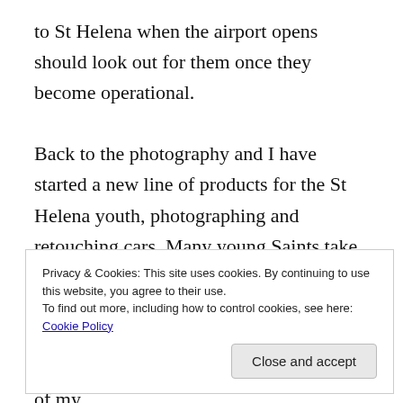to St Helena when the airport opens should look out for them once they become operational.
Back to the photography and I have started a new line of products for the St Helena youth, photographing and retouching cars. Many young Saints take a huge amount of pride in their vehicles, and I hope this will prove a success. Some of my photos will soon be on sale in the local arts and crafts store, and one of my
Privacy & Cookies: This site uses cookies. By continuing to use this website, you agree to their use.
To find out more, including how to control cookies, see here: Cookie Policy
Close and accept